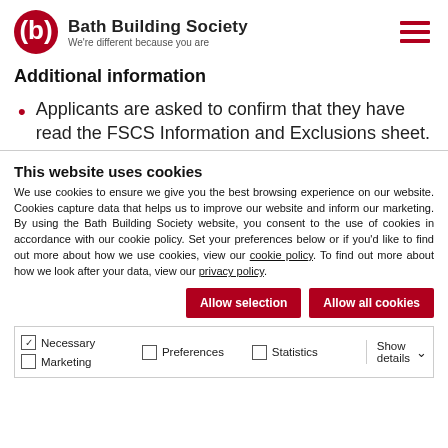Bath Building Society — We're different because you are
Additional information
Applicants are asked to confirm that they have read the FSCS Information and Exclusions sheet.
This website uses cookies
We use cookies to ensure we give you the best browsing experience on our website. Cookies capture data that helps us to improve our website and inform our marketing. By using the Bath Building Society website, you consent to the use of cookies in accordance with our cookie policy. Set your preferences below or if you'd like to find out more about how we use cookies, view our cookie policy. To find out more about how we look after your data, view our privacy policy.
Allow selection | Allow all cookies
Necessary (checked) | Preferences | Statistics | Show details | Marketing